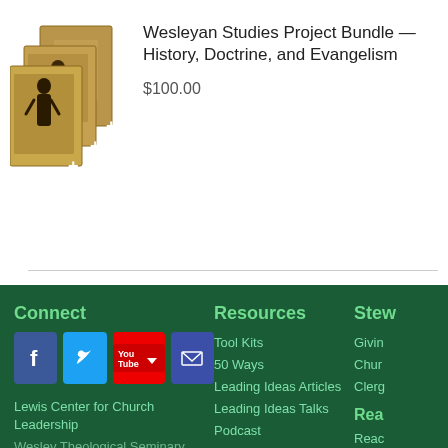[Figure (illustration): Stack of three book covers for Wesleyan Studies Project Bundle, tan/brown textured covers with figure illustrations]
Wesleyan Studies Project Bundle — History, Doctrine, and Evangelism
$100.00
Connect | Resources | Stew... | Lewis Center for Church Leadership | Wesley Theological Seminary | Tool Kits | 50 Ways | Leading Ideas Articles | Leading Ideas Talks | Podcast | Books | Giving | Church | Clergy | Reach
Connect
Resources
Stew
Tool Kits
50 Ways
Leading Ideas Articles
Leading Ideas Talks
Podcast
Books
Givin
Chur
Clerg
Rea
Reac
Lewis Center for Church Leadership
Wesley Theological Seminary